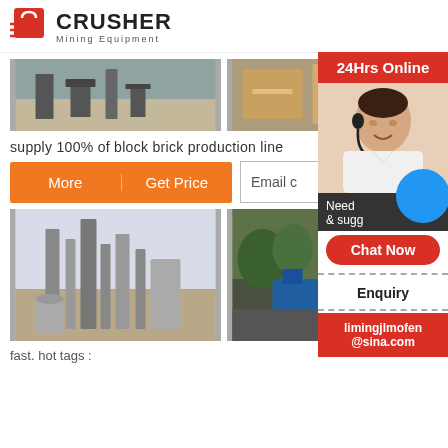[Figure (logo): Crusher Mining Equipment logo with red shopping bag icon and bold text]
[Figure (photo): Industrial/construction machinery photo, left side]
[Figure (photo): Industrial warehouse/equipment photo, right side]
supply 100% of block brick production line
More   Get Price
Email c
[Figure (photo): Industrial plant with tall towers, construction site]
[Figure (photo): Outdoor construction/mining equipment scene]
fast. hot tags :
[Figure (photo): 24Hrs Online sidebar with customer service representative photo, Chat Now button, Enquiry section, and limingjlmofen@sina.com email]
24Hrs Online
Need & sugg
Chat Now
Enquiry
limingjlmofen@sina.com